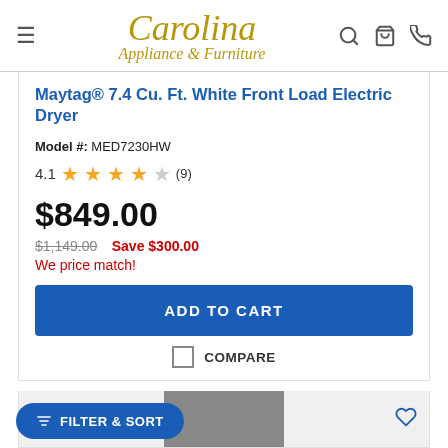Carolina Appliance & Furniture
Maytag® 7.4 Cu. Ft. White Front Load Electric Dryer
Model #: MED7230HW
4.1 (9) stars rating
$849.00
$1,149.00  Save $300.00
We price match!
ADD TO CART
COMPARE
FILTER & SORT